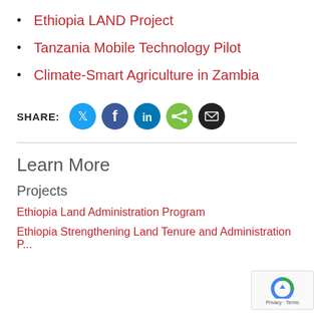Ethiopia LAND Project
Tanzania Mobile Technology Pilot
Climate-Smart Agriculture in Zambia
SHARE:
Learn More
Projects
Ethiopia Land Administration Program
Ethiopia Strengthening Land Tenure and Administration P...